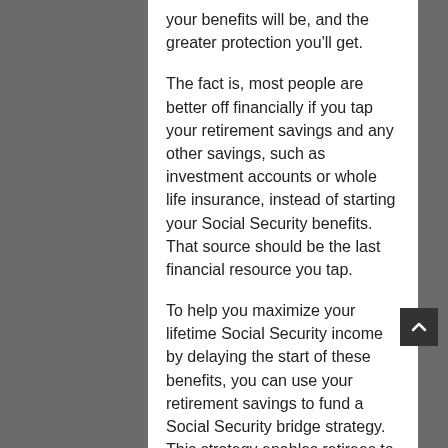your benefits will be, and the greater protection you'll get.
The fact is, most people are better off financially if you tap your retirement savings and any other savings, such as investment accounts or whole life insurance, instead of starting your Social Security benefits. That source should be the last financial resource you tap.
To help you maximize your lifetime Social Security income by delaying the start of these benefits, you can use your retirement savings to fund a Social Security bridge strategy. This strategy enables retirees to delay starting Social